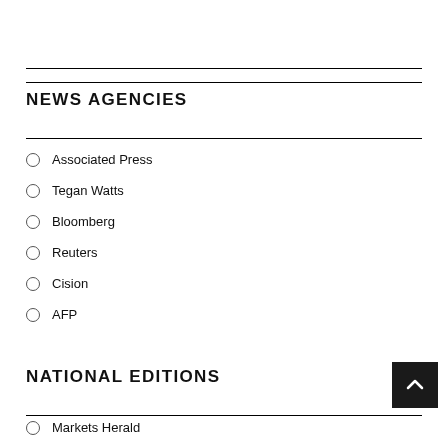NEWS AGENCIES
Associated Press
Tegan Watts
Bloomberg
Reuters
Cision
AFP
NATIONAL EDITIONS
Markets Herald